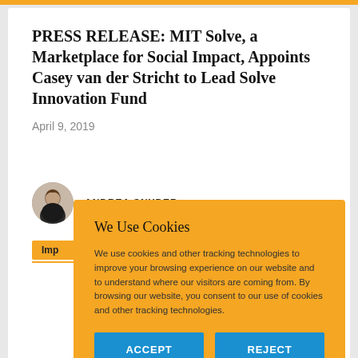PRESS RELEASE: MIT Solve, a Marketplace for Social Impact, Appoints Casey van der Stricht to Lead Solve Innovation Fund
April 9, 2019
ANDREA SNYDER
Imp
We Use Cookies
We use cookies and other tracking technologies to improve your browsing experience on our website and to understand where our visitors are coming from. By browsing our website, you consent to our use of cookies and other tracking technologies.
ACCEPT
REJECT
BACK
TO TOP